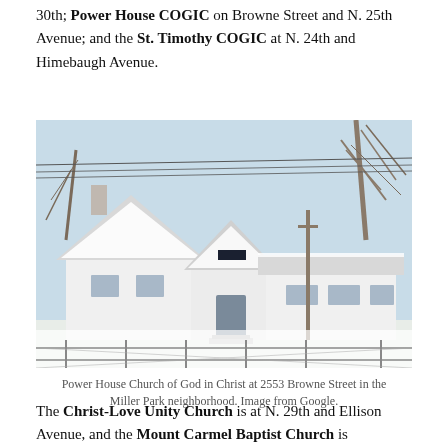30th; Power House COGIC on Browne Street and N. 25th Avenue; and the St. Timothy COGIC at N. 24th and Himebaugh Avenue.
[Figure (photo): Photograph of Power House Church of God in Christ, a white building with snow-covered roof, located at 2553 Browne Street in the Miller Park neighborhood. Bare trees visible in background, chain-link fence in foreground. Image from Google.]
Power House Church of God in Christ at 2553 Browne Street in the Miller Park neighborhood. Image from Google.
The Christ-Love Unity Church is at N. 29th and Ellison Avenue, and the Mount Carmel Baptist Church is